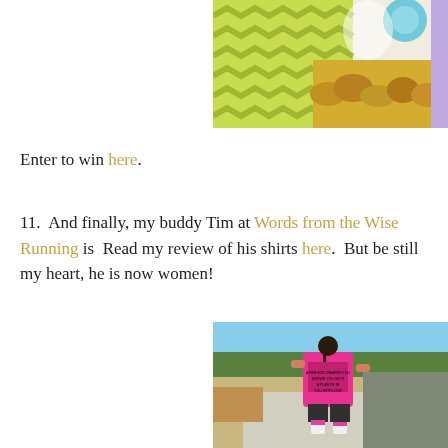[Figure (photo): Partial top photo showing colorful chevron patterned decorations in green, yellow, gold, and teal/blue against a white background — appears to be craft or party supplies]
Enter to win here.
11.  And finally, my buddy Tim at Words from the Wise Running is  Read my review of his shirts here.  But be still my heart, he is now women!
[Figure (photo): A woman in a bright pink running shirt and black shorts running away from the camera on a sidewalk. Trees and a street visible in the background. The back of the pink shirt has text printed on it.]